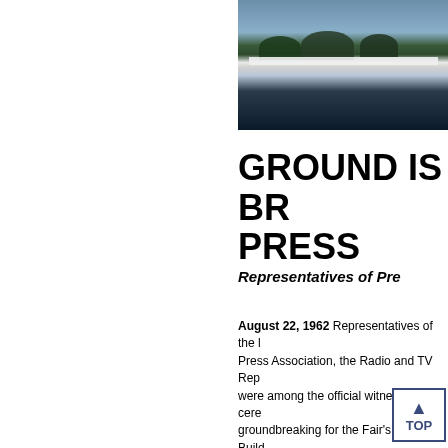[Figure (photo): Architectural rendering or photograph of a modern building with large glass panels and trees in the background, shown at dusk or night.]
GROUND IS BR... PRESS...
Representatives of Pre...
August 22, 1962 Representatives of the l... Press Association, the Radio and TV Rep... were among the official witnesses of cere... groundbreaking for the Fair's Press Build...
Fair President Robert Moses and ... communications and public relati... William J. Donohue, whose comp...